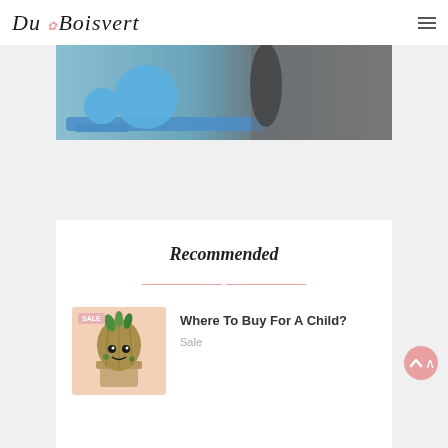Du Boisvert
[Figure (photo): Partial view of a person doing yoga or exercise with a blue exercise ball on a blue mat, dark background on right side]
Recommended
[Figure (photo): Crochet/knit Groot (Guardians of the Galaxy character) in a pot, displayed on a pink background, with a sale badge]
Where To Buy For A Child?
Sale